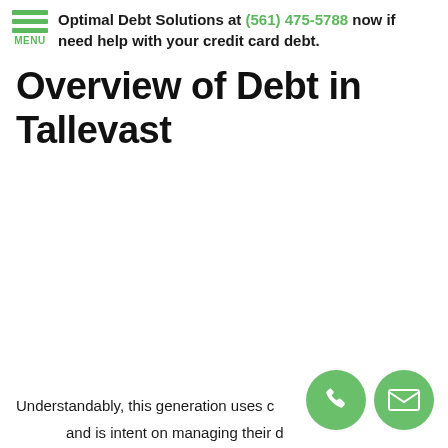Optimal Debt Solutions at (561) 475-5788 now if need help with your credit card debt.
Overview of Debt in Tallevast
Understandably, this generation uses c n ng and is intent on managing their d